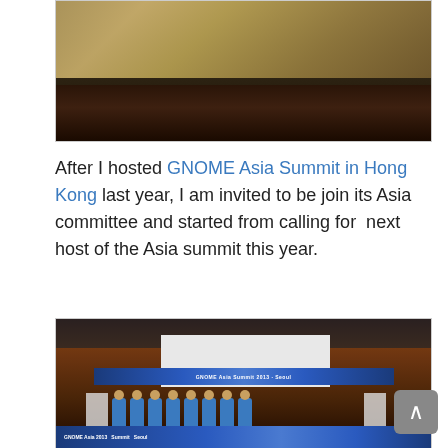[Figure (photo): Top portion of a conference photo showing a projected screen with text and people on a dark stage background]
After I hosted GNOME Asia Summit in Hong Kong last year, I am invited to be join its Asia committee and started from calling for  next host of the Asia summit this year.
[Figure (photo): GNOME Asia Summit 2013 in Seoul conference photo showing a group of people on stage with a banner reading 'GNOME Asia Summit 2013 Seoul', a projection screen, and two podiums]